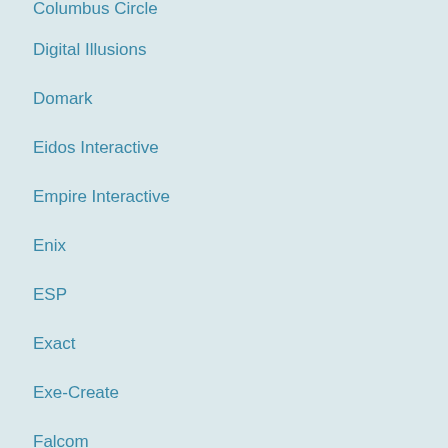Columbus Circle
Digital Illusions
Domark
Eidos Interactive
Empire Interactive
Enix
ESP
Exact
Exe-Create
Falcom
From Software
Gainax
Game Arts
GameBar